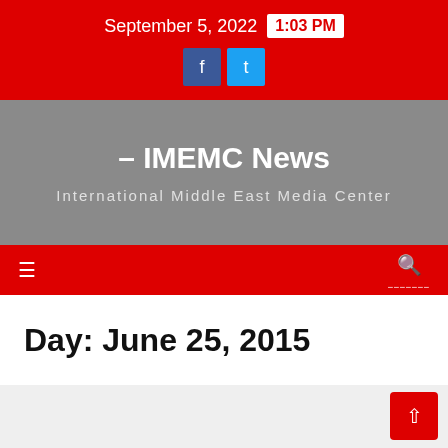September 5, 2022  1:03 PM
– IMEMC News
International Middle East Media Center
Day: June 25, 2015